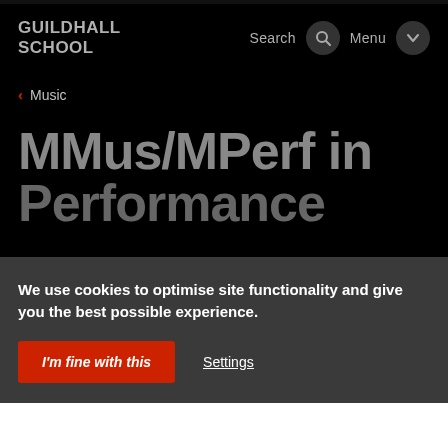GUILDHALL SCHOOL
< Music
MMus/MPerf in Performance
We use cookies to optimise site functionality and give you the best possible experience.
I'm fine with this
Settings